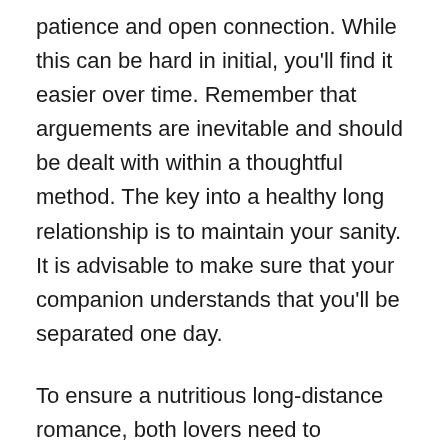patience and open connection. While this can be hard in initial, you'll find it easier over time. Remember that arguements are inevitable and should be dealt with within a thoughtful method. The key into a healthy long relationship is to maintain your sanity. It is advisable to make sure that your companion understands that you'll be separated one day.
To ensure a nutritious long-distance romance, both lovers need to converse effectively and set clear desires. Setting restrictions and discussing acceptable and unacceptable behavior can keep you and your spouse happy while you are separate. It's also important to preserve trust